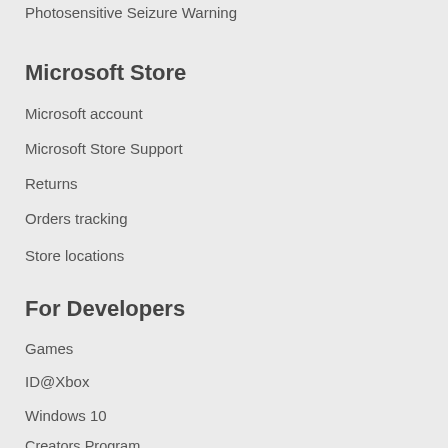Photosensitive Seizure Warning
Microsoft Store
Microsoft account
Microsoft Store Support
Returns
Orders tracking
Store locations
For Developers
Games
ID@Xbox
Windows 10
Creators Program
Designed for Xbox